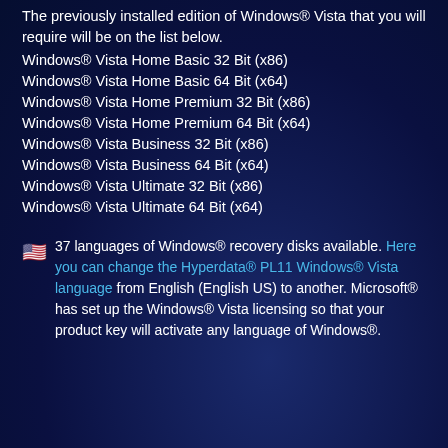The previously installed edition of Windows® Vista that you will require will be on the list below.
Windows® Vista Home Basic 32 Bit (x86)
Windows® Vista Home Basic 64 Bit (x64)
Windows® Vista Home Premium 32 Bit (x86)
Windows® Vista Home Premium 64 Bit (x64)
Windows® Vista Business 32 Bit (x86)
Windows® Vista Business 64 Bit (x64)
Windows® Vista Ultimate 32 Bit (x86)
Windows® Vista Ultimate 64 Bit (x64)
🇺🇸  37 languages of Windows® recovery disks available. Here you can change the Hyperdata® PL11 Windows® Vista language from English (English US) to another. Microsoft® has set up the Windows® Vista licensing so that your product key will activate any language of Windows®.